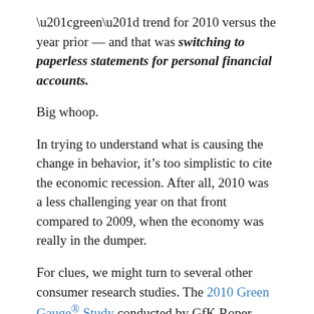“green” trend for 2010 versus the year prior — and that was switching to paperless statements for personal financial accounts.
Big whoop.
In trying to understand what is causing the change in behavior, it’s too simplistic to cite the economic recession. After all, 2010 was a less challenging year on that front compared to 2009, when the economy was really in the dumper.
For clues, we might turn to several other consumer research studies. The 2010 Green Gauge® Study conducted by GfK Roper gives us some possible reasons. That study concluded